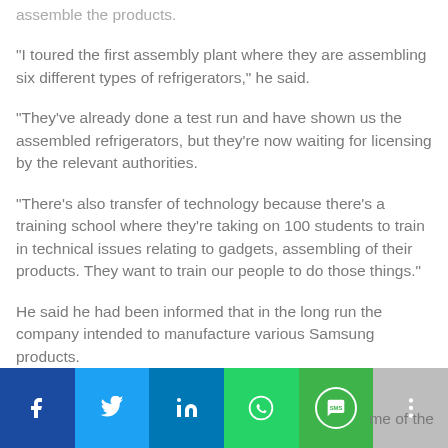assemble the products.
"I toured the first assembly plant where they are assembling six different types of refrigerators," he said.
"They've already done a test run and have shown us the assembled refrigerators, but they're now waiting for licensing by the relevant authorities.
"There's also transfer of technology because there's a training school where they're taking on 100 students to train in technical issues relating to gadgets, assembling of their products. They want to train our people to do those things."
He said he had been informed that in the long run the company intended to manufacture various Samsung products.
[Figure (other): Social media share bar with Facebook, Twitter, LinkedIn, WhatsApp, SMS, and more buttons, plus partial text 'me of the']